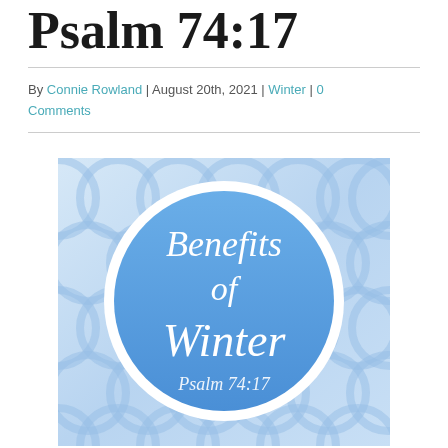Psalm 74:17
By Connie Rowland | August 20th, 2021 | Winter | 0 Comments
[Figure (illustration): Decorative image with blue gradient background featuring overlapping circle ring pattern. A large blue circle in the center contains white italic text reading 'Benefits of Winter' and below it 'Psalm 74:17'.]